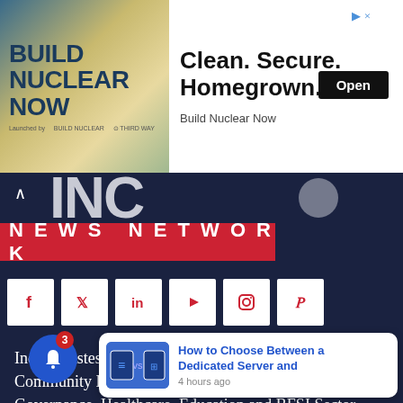[Figure (screenshot): Advertisement banner for Build Nuclear Now - Clean. Secure. Homegrown. with Open button]
[Figure (logo): INC News Network logo with red background bar and white bold text saying News Network]
[Figure (infographic): Social media icons row: Facebook, Twitter, LinkedIn, YouTube, Instagram, Pinterest]
India's Fastest Growing Media, Knowledge Consulting, Community Building Organisation in the field of Governance, Healthcare, Education and BFSI Sector.
Head Office
4, i-thum T...
[Figure (screenshot): Notification popup card: How to Choose Between a Dedicated Server and - 4 hours ago]